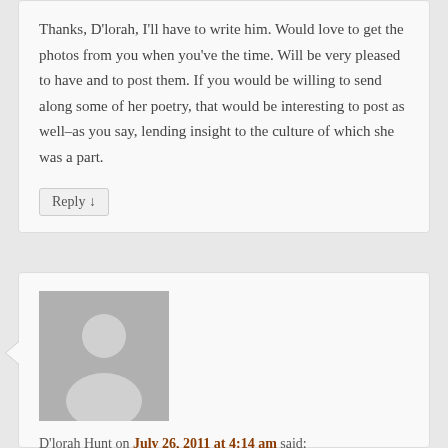Thanks, D’lorah, I’ll have to write him. Would love to get the photos from you when you’ve the time. Will be very pleased to have and to post them. If you would be willing to send along some of her poetry, that would be interesting to post as well–as you say, lending insight to the culture of which she was a part.
Reply ↓
[Figure (illustration): Generic avatar placeholder image showing a silhouette of a person against a grey background]
D’lorah Hunt on July 26, 2011 at 4:14 am said:
I should have sent this along months ago, but the two sources I’ve found are:
1)
“Low Living and High Thinking at Modern Times”,